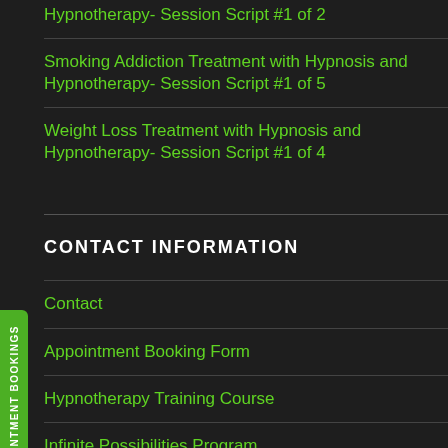Hypnotherapy- Session Script #1 of 2
Smoking Addiction Treatment with Hypnosis and Hypnotherapy- Session Script #1 of 5
Weight Loss Treatment with Hypnosis and Hypnotherapy- Session Script #1 of 4
CONTACT INFORMATION
Contact
Appointment Booking Form
Hypnotherapy Training Course
Infinite Possibilities Program
Stress Clinic Cape Town